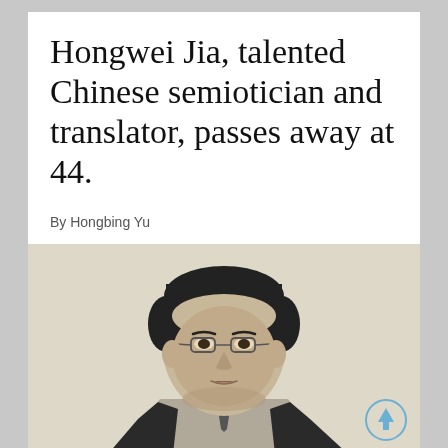Hongwei Jia, talented Chinese semiotician and translator, passes away at 44.
By Hongbing Yu
[Figure (photo): Black and white portrait photograph of Hongwei Jia, a man with short dark hair wearing glasses and a suit jacket, facing forward with a neutral expression.]